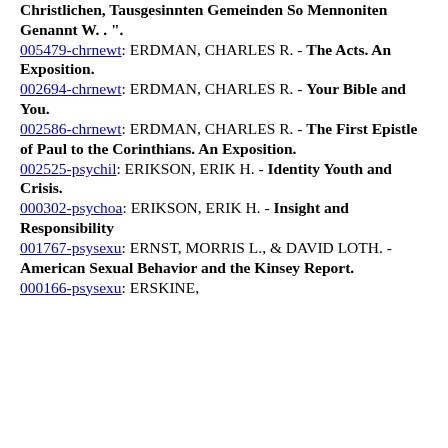Christlichen, Tausgesinnten Gemeinden So Mennoniten Genannt W. . ".
005479-chrnewt: ERDMAN, CHARLES R. - The Acts. An Exposition.
002694-chrnewt: ERDMAN, CHARLES R. - Your Bible and You.
002586-chrnewt: ERDMAN, CHARLES R. - The First Epistle of Paul to the Corinthians. An Exposition.
002525-psychil: ERIKSON, ERIK H. - Identity Youth and Crisis.
000302-psychoa: ERIKSON, ERIK H. - Insight and Responsibility
001767-psysexu: ERNST, MORRIS L., & DAVID LOTH. - American Sexual Behavior and the Kinsey Report.
000166-psysexu: ERSKINE,